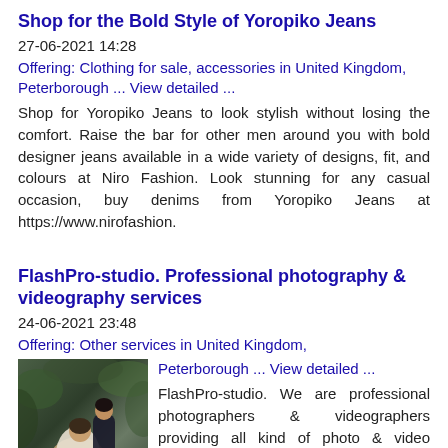Shop for the Bold Style of Yoropiko Jeans
27-06-2021 14:28
Offering: Clothing for sale, accessories in United Kingdom, Peterborough ... View detailed ...
Shop for Yoropiko Jeans to look stylish without losing the comfort. Raise the bar for other men around you with bold designer jeans available in a wide variety of designs, fit, and colours at Niro Fashion. Look stunning for any casual occasion, buy denims from Yoropiko Jeans at https://www.nirofashion.
FlashPro-studio. Professional photography & videography services
24-06-2021 23:48
Offering: Other services in United Kingdom, Peterborough ... View detailed ...
[Figure (photo): A couple in a romantic outdoor setting, the man in a dark suit kissing a woman who is seated, surrounded by green foliage.]
FlashPro-studio. We are professional photographers & videographers providing all kind of photo & video services: wedding photography & videography, love story photoshoot (engagement, wedding), portrait, beauty, family